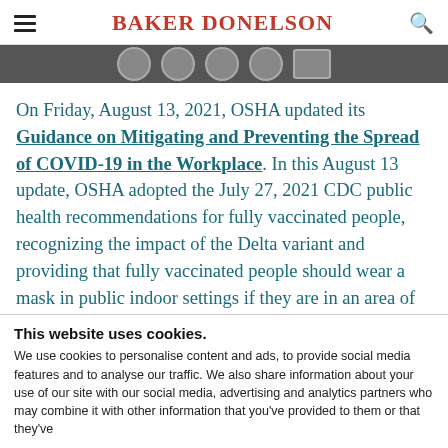BAKER DONELSON
On Friday, August 13, 2021, OSHA updated its Guidance on Mitigating and Preventing the Spread of COVID-19 in the Workplace. In this August 13 update, OSHA adopted the July 27, 2021 CDC public health recommendations for fully vaccinated people, recognizing the impact of the Delta variant and providing that fully vaccinated people should wear a mask in public indoor settings if they are in an area of "substantial or high transmission" (as defined
This website uses cookies.
We use cookies to personalise content and ads, to provide social media features and to analyse our traffic. We also share information about your use of our site with our social media, advertising and analytics partners who may combine it with other information that you've provided to them or that they've